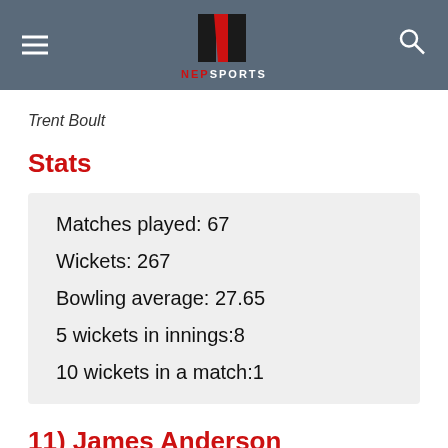NEP SPORTS logo with hamburger menu and search icon
Trent Boult
Stats
Matches played: 67
Wickets: 267
Bowling average: 27.65
5 wickets in innings:8
10 wickets in a match:1
11) James Anderson